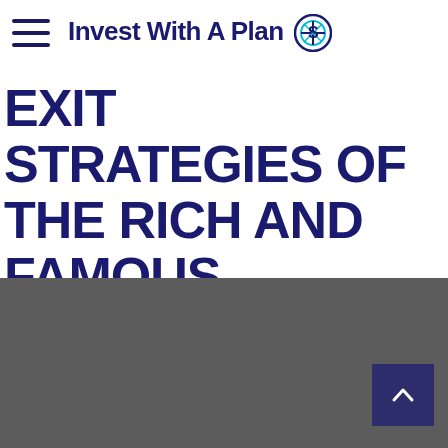Invest With A Plan
EXIT STRATEGIES OF THE RICH AND FAMOUS
Estate conservation is too important to put off. Do you have a smart exit strategy?
[Figure (other): Dark gray footer section with a scroll-to-top button in dark navy blue in the bottom right corner]